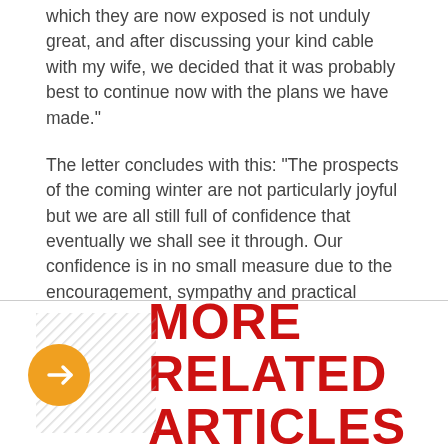which they are now exposed is not unduly great, and after discussing your kind cable with my wife, we decided that it was probably best to continue now with the plans we have made."
The letter concludes with this: "The prospects of the coming winter are not particularly joyful but we are all still full of confidence that eventually we shall see it through. Our confidence is in no small measure due to the encouragement, sympathy and practical assistance that we are receiving from your country, whose outlook and ideals are so close to our own."
Never underestimate the historic value of the letters you have in your collection. As primary documents, they provide a record of history better than most textbooks.
MORE RELATED ARTICLES